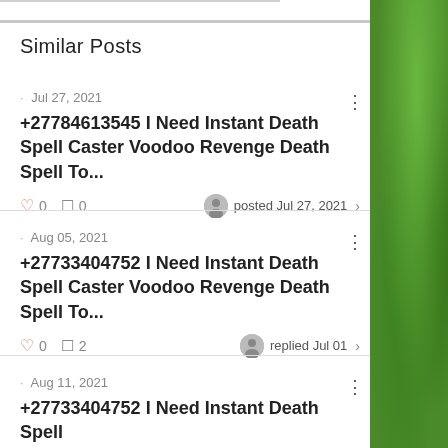Similar Posts
· Jul 27, 2021
+27784613545 I Need Instant Death Spell Caster Voodoo Revenge Death Spell To...
0 likes 0 comments posted Jul 27, 2021
· Aug 05, 2021
+27733404752 I Need Instant Death Spell Caster Voodoo Revenge Death Spell To...
0 likes 2 comments replied Jul 01
· Aug 11, 2021
+27733404752 I Need Instant Death Spell